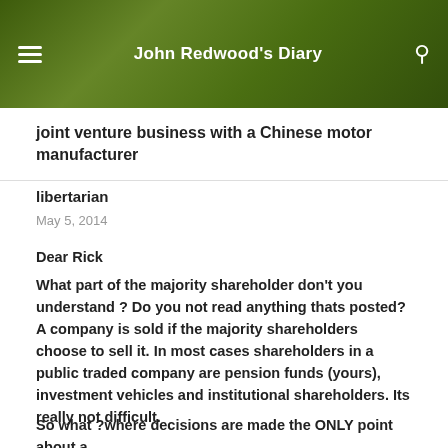John Redwood's Diary
joint venture business with a Chinese motor manufacturer
libertarian
May 5, 2014
Dear Rick
What part of the majority shareholder don’t you understand ? Do you not read anything thats posted? A company is sold if the majority shareholders choose to sell it. In most cases shareholders in a public traded company are pension funds (yours), investment vehicles and institutional shareholders. Its really not difficult.
So what ?where decisions are made the ONLY point about a